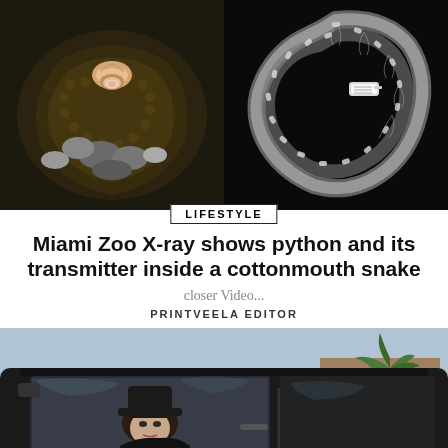[Figure (photo): Two side-by-side photos: left shows a dark patterned cottonmouth snake coiled among rocks with a shell visible; right shows an X-ray image of a coiled snake (python) with a transmitter visible inside.]
Miami Zoo X-ray shows python and its transmitter inside a cottonmouth snake
closer Video...
PRINTVEELA EDITOR
[Figure (photo): A person (woman wearing a hat) seated inside a dark car, viewed through the car window, with palm trees and a building visible in the background.]